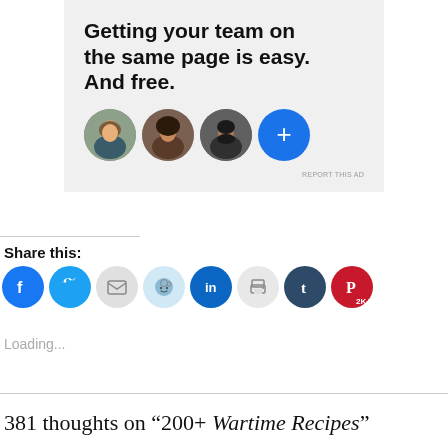[Figure (illustration): Advertisement banner with gray background. Large bold text reads: Getting your team on the same page is easy. And free. Below the text are four circular avatar images: three photo portraits and one blue circle with a plus sign.]
REPORT THIS AD
Share this:
[Figure (infographic): Row of social sharing icon buttons: Facebook (blue), Twitter (cyan), Email (gray), Reddit (light blue), LinkedIn (dark blue), Print (gray), Tumblr (dark teal), Pinterest (red with 2K+ badge)]
Loading...
381 thoughts on “200+ Wartime Recipes”